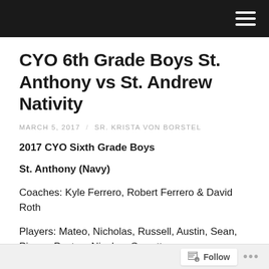CYO 6th Grade Boys St. Anthony vs St. Andrew Nativity
MARCH 5, 2017 / SR. KRISTA VON BORSTEL
2017 CYO Sixth Grade Boys
St. Anthony (Navy)
Coaches: Kyle Ferrero, Robert Ferrero & David Roth
Players: Mateo, Nicholas, Russell, Austin, Sean, Pierce, Payton, Nicolas, Garrett
Follow